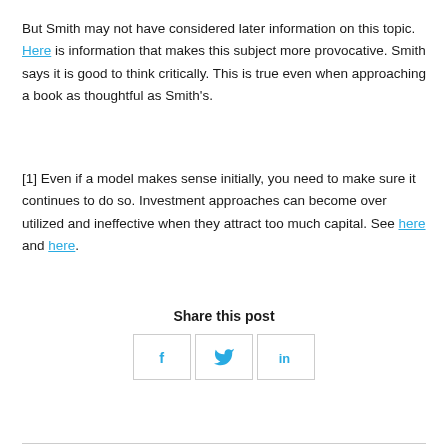But Smith may not have considered later information on this topic. Here is information that makes this subject more provocative. Smith says it is good to think critically. This is true even when approaching a book as thoughtful as Smith's.
[1] Even if a model makes sense initially, you need to make sure it continues to do so. Investment approaches can become over utilized and ineffective when they attract too much capital. See here and here.
Share this post
[Figure (other): Social sharing buttons: Facebook (f), Twitter (bird icon), LinkedIn (in)]